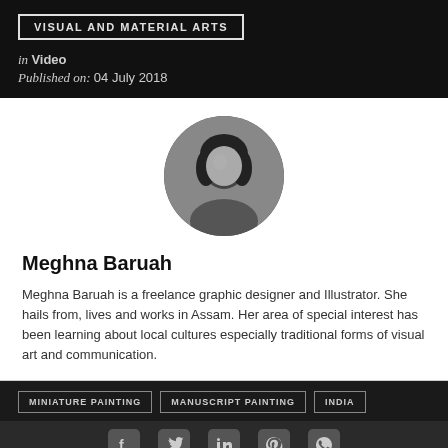VISUAL AND MATERIAL ARTS
in Video
Published on: 04 July 2018
[Figure (photo): Circular portrait photo of Meghna Baruah, a woman with medium-length dark hair, black and white image]
Meghna Baruah
Meghna Baruah is a freelance graphic designer and Illustrator. She hails from, lives and works in Assam. Her area of special interest has been learning about local cultures especially traditional forms of visual art and communication.
MINIATURE PAINTING
MANUSCRIPT PAINTING
INDIA